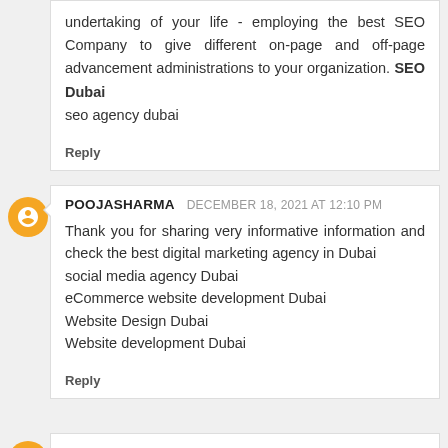undertaking of your life - employing the best SEO Company to give different on-page and off-page advancement administrations to your organization. SEO Dubai
seo agency dubai
Reply
POOJASHARMA  DECEMBER 18, 2021 AT 12:10 PM
Thank you for sharing very informative information and check the best digital marketing agency in Dubai
social media agency Dubai
eCommerce website development Dubai
Website Design Dubai
Website development Dubai
Reply
UNKNONW  DECEMBER 21, 2021 AT 4:49 PM
i never know the use of adobe shadow until i saw this post. thank you for this! this is very helpful. purchase backlinks